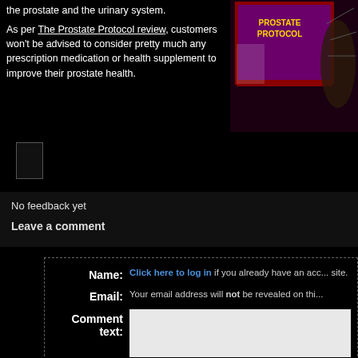the prostate and the urinary system.
As per The Prostate Protocol review, customers won't be advised to consider pretty much any prescription medication or health supplement to improve their prostate health.
[Figure (photo): Book cover image showing 'The Prostate Protocol' text on a purple/red background with a human figure]
No feedback yet
Leave a comment
Name:
Click here to log in if you already have an account on this site.
Email:
Your email address will not be revealed on this site.
Comment text: